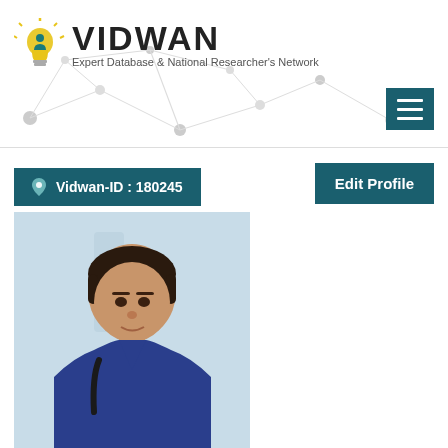[Figure (logo): VIDWAN logo with lightbulb icon and text 'Expert Database & National Researcher's Network']
[Figure (other): Hamburger menu button (three horizontal lines) on dark teal background]
Vidwan-ID : 180245
Edit Profile
[Figure (photo): Profile photo of a young man wearing a blue v-neck sweater with a backpack strap, standing against a light blue background]